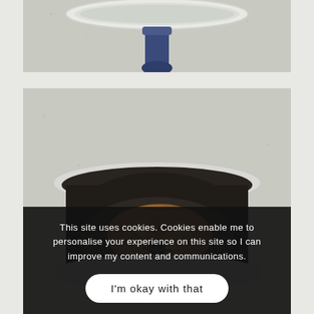[Figure (photo): Top-down view of a white pot or bowl with blue handle on a light concrete/stone surface, showing liquid inside]
[Figure (photo): Top-down view of a dark bowl/blender containing brown crumbled cookie or biscuit mixture, on a light concrete surface, with cookie consent overlay banner]
This site uses cookies. Cookies enable me to personalise your experience on this site so I can improve my content and communications.
I'm okay with that